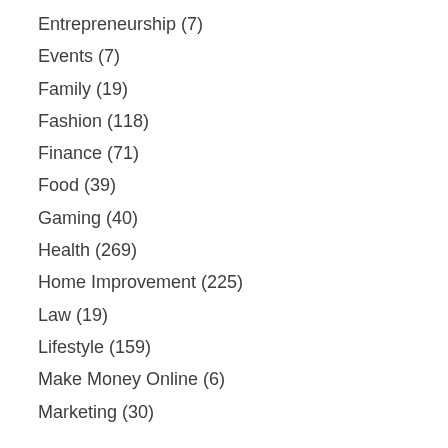Entrepreneurship (7)
Events (7)
Family (19)
Fashion (118)
Finance (71)
Food (39)
Gaming (40)
Health (269)
Home Improvement (225)
Law (19)
Lifestyle (159)
Make Money Online (6)
Marketing (30)